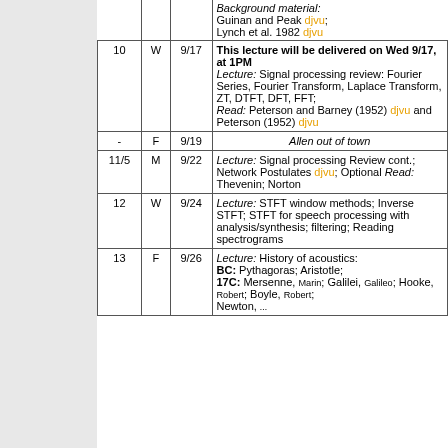| # | Day | Date | Content |
| --- | --- | --- | --- |
|  |  |  | Background material: Guinan and Peak djvu; Lynch et al. 1982 djvu |
| 10 | W | 9/17 | This lecture will be delivered on Wed 9/17, at 1PM Lecture: Signal processing review: Fourier Series, Fourier Transform, Laplace Transform, ZT, DTFT, DFT, FFT; Read: Peterson and Barney (1952) djvu and Peterson (1952) djvu |
| - | F | 9/19 | Allen out of town |
| 11/5 | M | 9/22 | Lecture: Signal processing Review cont.; Network Postulates djvu; Optional Read: Thevenin; Norton |
| 12 | W | 9/24 | Lecture: STFT window methods; Inverse STFT; STFT for speech processing with analysis/synthesis; filtering; Reading spectrograms |
| 13 | F | 9/26 | Lecture: History of acoustics: BC: Pythagoras; Aristotle; 17C: Mersenne, Marin; Galilei, Galileo; Hooke, Robert; Boyle, Robert; Newton, ... |